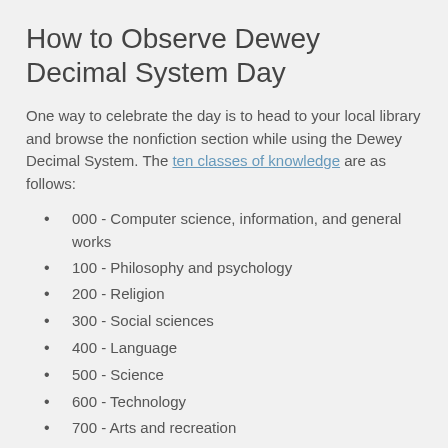How to Observe Dewey Decimal System Day
One way to celebrate the day is to head to your local library and browse the nonfiction section while using the Dewey Decimal System. The ten classes of knowledge are as follows:
000 - Computer science, information, and general works
100 - Philosophy and psychology
200 - Religion
300 - Social sciences
400 - Language
500 - Science
600 - Technology
700 - Arts and recreation
800 - Literature
900 - History and geography